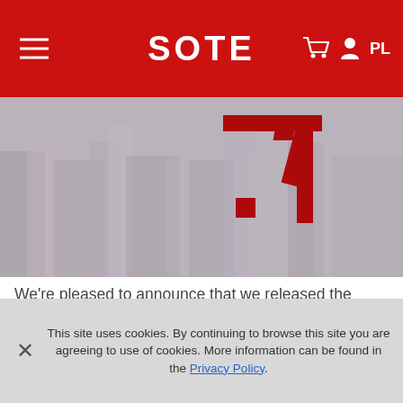SOTE
[Figure (screenshot): Hero image showing a blurred cityscape background with large red '7.1' text overlay, representing SOTESHOP version 7.1]
We're pleased to announce that we released the newest version of our software SOTESHOP 7.1. Check the list of changes that have appeared in our software since the release of the new version: expanded functionality of reviews, SOTESHOP is fully compatible with PHP 5.5.x, verifying the system after upgrading a store, improvement of...
This site uses cookies. By continuing to browse this site you are agreeing to use of cookies. More information can be found in the Privacy Policy.